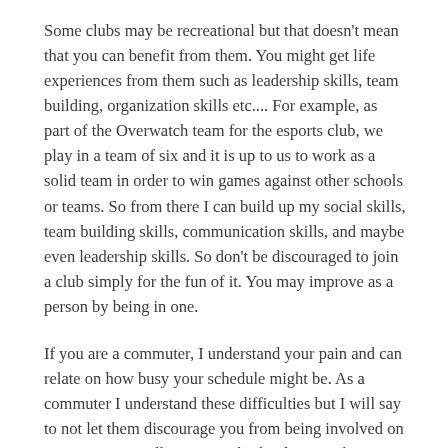Some clubs may be recreational but that doesn't mean that you can benefit from them. You might get life experiences from them such as leadership skills, team building, organization skills etc.... For example, as part of the Overwatch team for the esports club, we play in a team of six and it is up to us to work as a solid team in order to win games against other schools or teams. So from there I can build up my social skills, team building skills, communication skills, and maybe even leadership skills. So don't be discouraged to join a club simply for the fun of it. You may improve as a person by being in one.
If you are a commuter, I understand your pain and can relate on how busy your schedule might be. As a commuter I understand these difficulties but I will say to not let them discourage you from being involved on campus. Personally, I enjoyed school more when I joined the clubs since I had something else to look